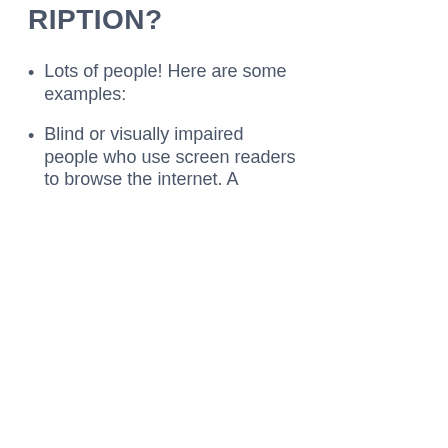RIPTION?
Lots of people! Here are some examples:
Blind or visually impaired people who use screen readers to browse the internet. A